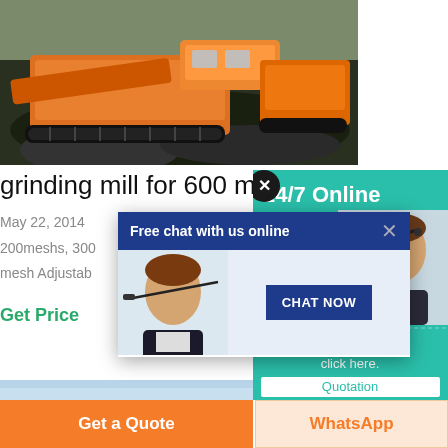[Figure (photo): Aerial view of orange heavy mining machinery / crusher on dark rocky ground]
grinding mill for 600 mesh
May 22, 2014
200meshs, 300
mesh Adjustab
Get Price
[Figure (screenshot): Blue sky banner image]
[Figure (screenshot): Teal 24/7 Online customer service panel with agent photo]
[Figure (screenshot): Free chat with us online popup with agent photo and CHAT NOW button]
Have any requests, click here.
Quotation
Get a Quote
WhatsApp